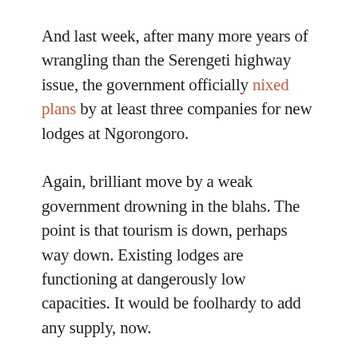And last week, after many more years of wrangling than the Serengeti highway issue, the government officially nixed plans by at least three companies for new lodges at Ngorongoro.
Again, brilliant move by a weak government drowning in the blahs. The point is that tourism is down, perhaps way down. Existing lodges are functioning at dangerously low capacities. It would be foolhardy to add any supply, now.
But of course the tourism minister, Ezekiel Maige, said “the area needed to remain natural and free from human pressures.” Right. And good of course, but that’s a sarcastic “right” coming from a